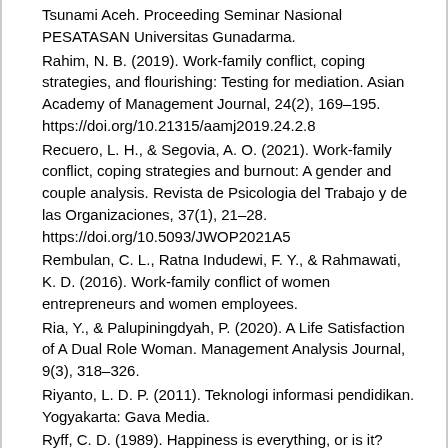Tsunami Aceh. Proceeding Seminar Nasional PESATASAN Universitas Gunadarma.
Rahim, N. B. (2019). Work-family conflict, coping strategies, and flourishing: Testing for mediation. Asian Academy of Management Journal, 24(2), 169–195. https://doi.org/10.21315/aamj2019.24.2.8
Recuero, L. H., & Segovia, A. O. (2021). Work-family conflict, coping strategies and burnout: A gender and couple analysis. Revista de Psicologia del Trabajo y de las Organizaciones, 37(1), 21–28. https://doi.org/10.5093/JWOP2021A5
Rembulan, C. L., Ratna Indudewi, F. Y., & Rahmawati, K. D. (2016). Work-family conflict of women entrepreneurs and women employees.
Ria, Y., & Palupiningdyah, P. (2020). A Life Satisfaction of A Dual Role Woman. Management Analysis Journal, 9(3), 318–326.
Riyanto, L. D. P. (2011). Teknologi informasi pendidikan. Yogyakarta: Gava Media.
Ryff, C. D. (1989). Happiness is everything, or is it? Explorations on the meaning of psychological well-being. Journal of personality and sosial psychology, 57(6), 1069.
Ryff, C. D., & Keyes, C. L. M. (1995). The structure of